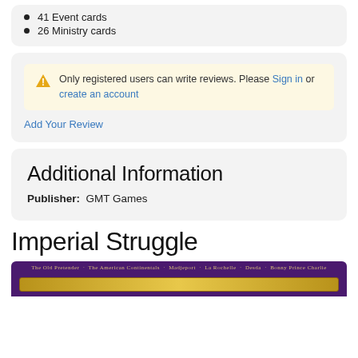41 Event cards
26 Ministry cards
Only registered users can write reviews. Please Sign in or create an account
Add Your Review
Additional Information
Publisher: GMT Games
Imperial Struggle
[Figure (photo): Bottom portion of a board game box art with purple background and ornate gold banner/frame decoration, text listing game scenarios at top]